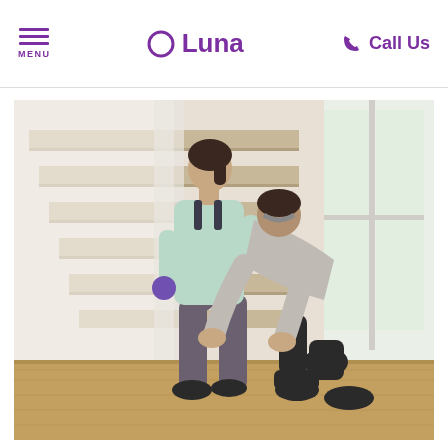MENU | Luna | Call Us
[Figure (photo): A physical therapist kneeling on the floor examining/treating a woman's lower leg while she stands doing a lunge exercise with a small dumbbell in hand, in front of a staircase inside a home.]